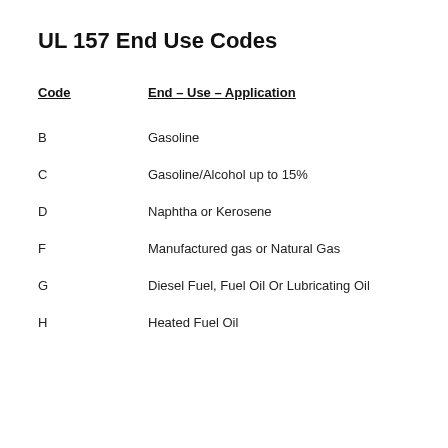UL 157 End Use Codes
| Code | End – Use – Application |
| --- | --- |
| B | Gasoline |
| C | Gasoline/Alcohol up to 15% |
| D | Naphtha or Kerosene |
| F | Manufactured gas or Natural Gas |
| G | Diesel Fuel, Fuel Oil Or Lubricating Oil |
| H | Heated Fuel Oil |